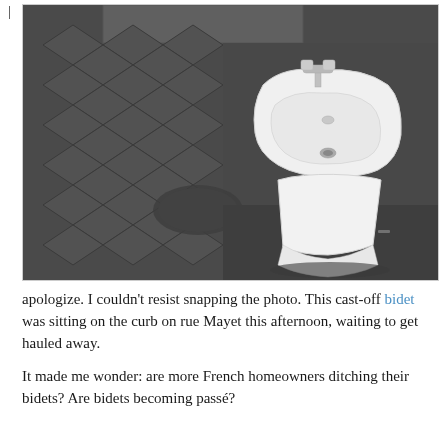[Figure (photo): A white porcelain bidet sitting on a sidewalk/curb on rue Mayet, Paris. The bidet has a chrome faucet and is placed on a dark wet pavement with a diamond-pattern stone curb visible behind it.]
apologize. I couldn't resist snapping the photo. This cast-off bidet was sitting on the curb on rue Mayet this afternoon, waiting to get hauled away.
It made me wonder: are more French homeowners ditching their bidets? Are bidets becoming passé?